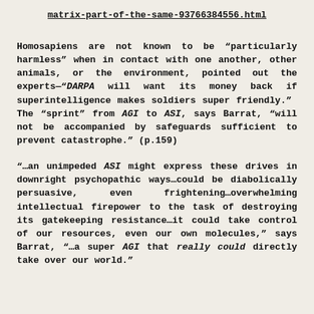matrix-part-of-the-same-93766384556.html
Homosapiens are not known to be “particularly harmless” when in contact with one another, other animals, or the environment, pointed out the experts—“DARPA will want its money back if superintelligence makes soldiers super friendly.”  The “sprint” from AGI to ASI, says Barrat, “will not be accompanied by safeguards sufficient to prevent catastrophe.” (p.159)
“…an unimpeded ASI might express these drives in downright psychopathic ways…could be diabolically persuasive, even frightening…overwhelming intellectual firepower to the task of destroying its gatekeeping resistance…it could take control of our resources, even our own molecules,” says Barrat, “…a super AGI that really could directly take over our world.”